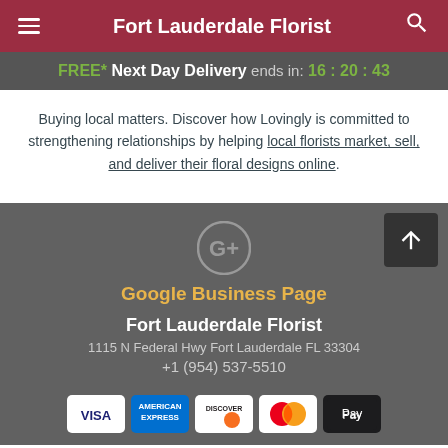Fort Lauderdale Florist
FREE* Next Day Delivery ends in: 16:20:43
Buying local matters. Discover how Lovingly is committed to strengthening relationships by helping local florists market, sell, and deliver their floral designs online.
[Figure (logo): Google+ logo icon]
Google Business Page
Fort Lauderdale Florist
1115 N Federal Hwy Fort Lauderdale FL 33304
+1 (954) 537-5510
[Figure (other): Payment method icons: Visa, American Express, Discover, Mastercard, Apple Pay]